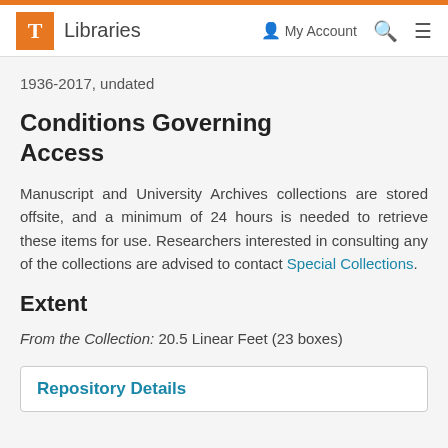T Libraries | My Account | Search | Menu
1936-2017, undated
Conditions Governing Access
Manuscript and University Archives collections are stored offsite, and a minimum of 24 hours is needed to retrieve these items for use. Researchers interested in consulting any of the collections are advised to contact Special Collections.
Extent
From the Collection: 20.5 Linear Feet (23 boxes)
Repository Details